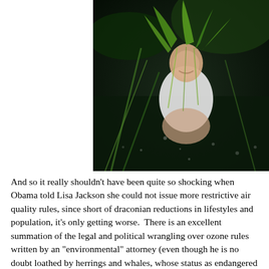[Figure (photo): A photograph of a person wearing a green leafy headdress, dressed in a white top, partially submerged or standing in dark water with aquatic plants around them. They appear to be smiling.]
And so it really shouldn't have been quite so shocking when Obama told Lisa Jackson she could not issue more restrictive air quality rules, since short of draconian reductions in lifestyles and population, it's only getting worse.  There is an excellent summation of the legal and political wrangling over ozone rules written by an "environmental" attorney (even though he is no doubt loathed by herrings and whales, whose status as endangered he successfully thwarted, oh, and trees, after his